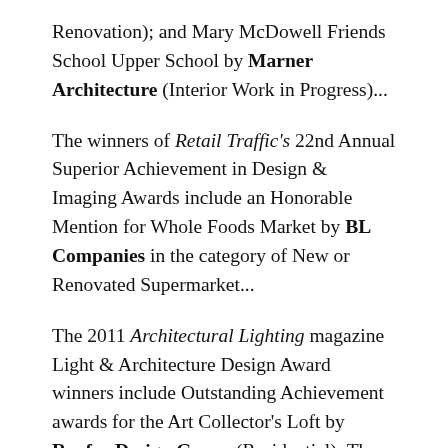Renovation); and Mary McDowell Friends School Upper School by Marner Architecture (Interior Work in Progress)...
The winners of Retail Traffic's 22nd Annual Superior Achievement in Design & Imaging Awards include an Honorable Mention for Whole Foods Market by BL Companies in the category of New or Renovated Supermarket...
The 2011 Architectural Lighting magazine Light & Architecture Design Award winners include Outstanding Achievement awards for the Art Collector's Loft by Renfro Design Group (Residential); The Dee and Charles Wyly Theater by Tillotson Design Associates (Whole